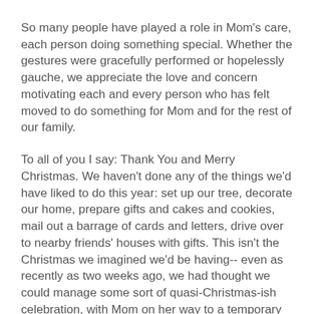So many people have played a role in Mom's care, each person doing something special. Whether the gestures were gracefully performed or hopelessly gauche, we appreciate the love and concern motivating each and every person who has felt moved to do something for Mom and for the rest of our family.
To all of you I say: Thank You and Merry Christmas. We haven't done any of the things we'd have liked to do this year: set up our tree, decorate our home, prepare gifts and cakes and cookies, mail out a barrage of cards and letters, drive over to nearby friends' houses with gifts. This isn't the Christmas we imagined we'd be having-- even as recently as two weeks ago, we had thought we could manage some sort of quasi-Christmas-ish celebration, with Mom on her way to a temporary recovery thanks to the Avastin that would have been busily shrinking her tumors. But that was not to be. For that reason among others, we rely even more strongly on the kindness and goodwill of our circles of care during this, our sadly silent night.